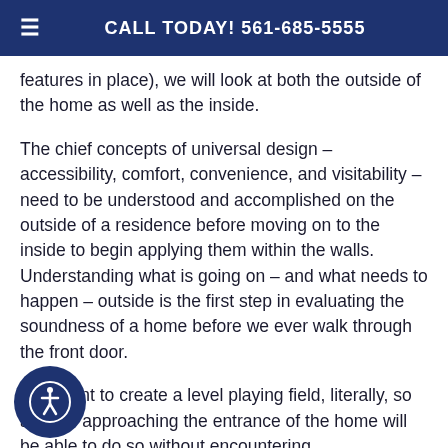CALL TODAY! 561-685-5555
features in place), we will look at both the outside of the home as well as the inside.
The chief concepts of universal design – accessibility, comfort, convenience, and visitability – need to be understood and accomplished on the outside of a residence before moving on to the inside to begin applying them within the walls. Understanding what is going on – and what needs to happen – outside is the first step in evaluating the soundness of a home before we ever walk through the front door.
We want to create a level playing field, literally, so anyone approaching the entrance of the home will be able to do so without encountering